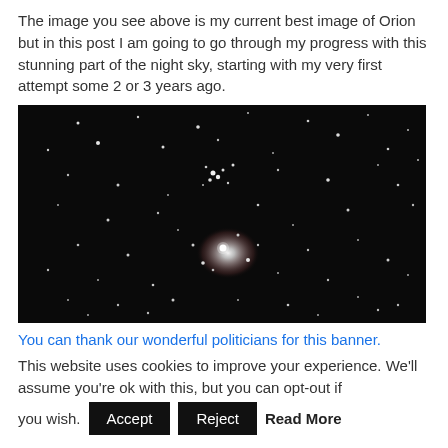The image you see above is my current best image of Orion but in this post I am going to go through my progress with this stunning part of the night sky, starting with my very first attempt some 2 or 3 years ago.
[Figure (photo): Astrophotography image of the Orion constellation region showing stars and the Orion Nebula on a black background, grayscale.]
You can thank our wonderful politicians for this banner.
This website uses cookies to improve your experience. We'll assume you're ok with this, but you can opt-out if you wish.
Accept  Reject  Read More